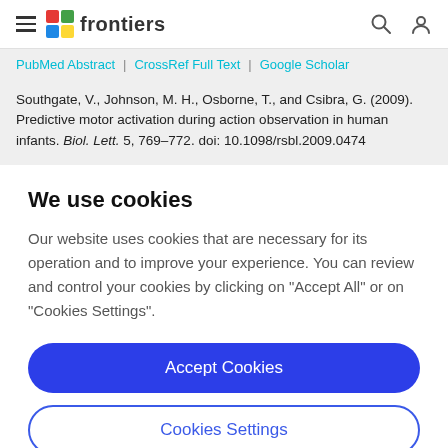frontiers
PubMed Abstract | CrossRef Full Text | Google Scholar
Southgate, V., Johnson, M. H., Osborne, T., and Csibra, G. (2009). Predictive motor activation during action observation in human infants. Biol. Lett. 5, 769–772. doi: 10.1098/rsbl.2009.0474
We use cookies
Our website uses cookies that are necessary for its operation and to improve your experience. You can review and control your cookies by clicking on "Accept All" or on "Cookies Settings".
Accept Cookies
Cookies Settings